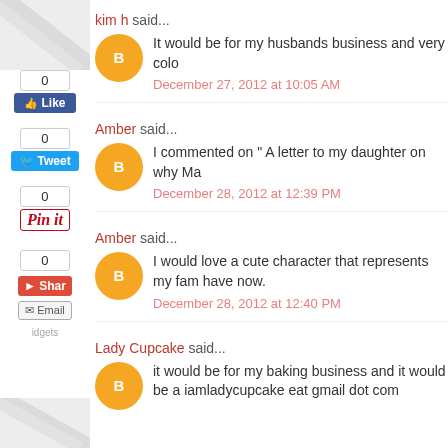[Figure (screenshot): Social media sharing sidebar with Like (0), Tweet (0), Pin it (0), Share, and Email buttons]
kim h said...
It would be for my husbands business and very colo
December 27, 2012 at 10:05 AM
Amber said...
I commented on " A letter to my daughter on why Ma
December 28, 2012 at 12:39 PM
Amber said...
I would love a cute character that represents my fam have now.
December 28, 2012 at 12:40 PM
Lady Cupcake said...
it would be for my baking business and it would be a iamladycupcake eat gmail dot com